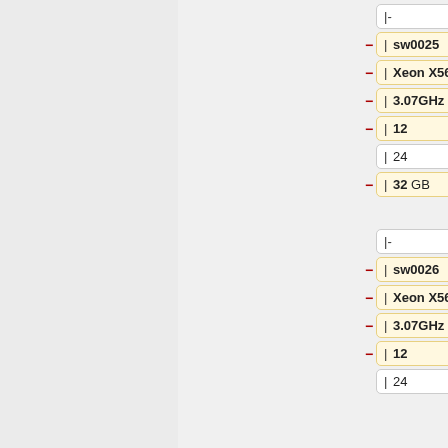[Figure (other): Diff/comparison view of two configuration sets (sw0025 vs cac046, sw0026 vs cac047) showing fields: switch name, CPU model, CPU frequency, core count, thread count, RAM with highlighted changes (yellow=removed, blue=added). Fields shown: |-placeholder, sw0025/cac046, Xeon X5675/E5-2650 v4, 3.07GHz/2.2GHz, 12/(empty), 24/24, 32GB/(empty)/256GB, |-placeholder, sw0026/cac047, Xeon X5675/E5-2650 v4, 3.07GHz/2.2GHz, 12/(empty), 24/24]